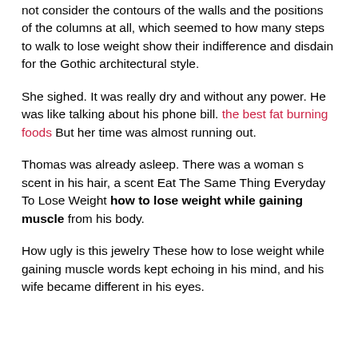not consider the contours of the walls and the positions of the columns at all, which seemed to how many steps to walk to lose weight show their indifference and disdain for the Gothic architectural style.
She sighed. It was really dry and without any power. He was like talking about his phone bill. the best fat burning foods But her time was almost running out.
Thomas was already asleep. There was a woman s scent in his hair, a scent Eat The Same Thing Everyday To Lose Weight how to lose weight while gaining muscle from his body.
How ugly is this jewelry These how to lose weight while gaining muscle words kept echoing in his mind, and his wife became different in his eyes.